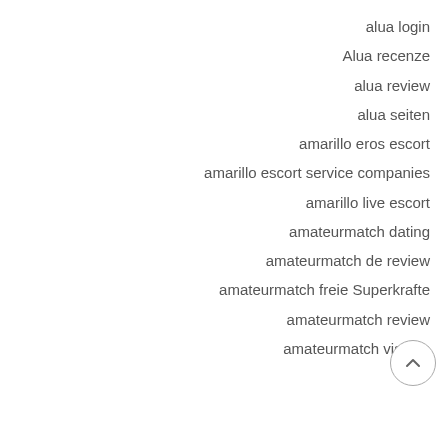alua login
Alua recenze
alua review
alua seiten
amarillo eros escort
amarillo escort service companies
amarillo live escort
amateurmatch dating
amateurmatch de review
amateurmatch freie Superkrafte
amateurmatch review
amateurmatch visitors